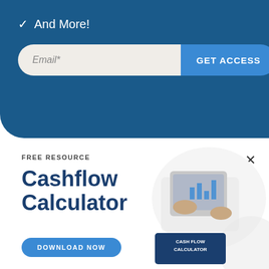And More!
Email*
GET ACCESS
FREE RESOURCE
Cashflow Calculator
DOWNLOAD NOW
[Figure (photo): Person using tablet with cash flow calculator document and charts visible, with a blue card labeled CASH FLOW CALCULATOR]
CASH FLOW CALCULATOR